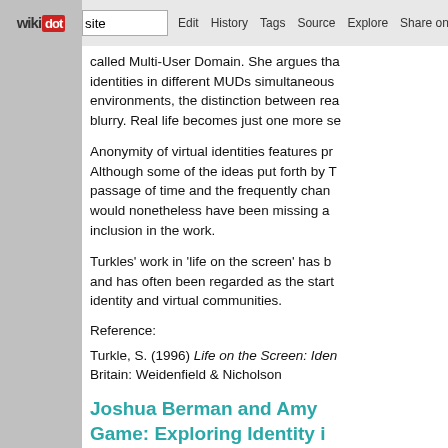wiki dot | site | Edit | History | Tags | Source | Explore | Share on [Twitter]
called Multi-User Domain. She argues that identities in different MUDs simultaneously environments, the distinction between rea blurry. Real life becomes just one more se
Anonymity of virtual identities features pro Although some of the ideas put forth by Tu passage of time and the frequently chang would nonetheless have been missing a v inclusion in the work.
Turkles' work in 'life on the screen' has be and has often been regarded as the starti identity and virtual communities.
Reference:
Turkle, S. (1996) Life on the Screen: Iden Britain: Weidenfield & Nicholson
Joshua Berman and Amy Game: Exploring Identity i Environment
The paper is based on the game called th the studys' particular purpose, that of expl